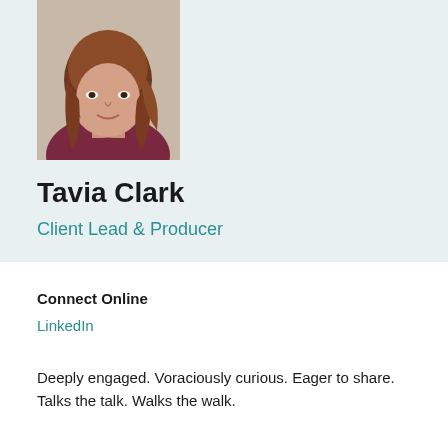[Figure (photo): Headshot photo of Tavia Clark, a woman with medium-length brown hair wearing a dark red/maroon top, cropped at shoulders, on a light background]
Tavia Clark
Client Lead & Producer
Connect Online
LinkedIn
Deeply engaged. Voraciously curious. Eager to share. Talks the talk. Walks the walk.